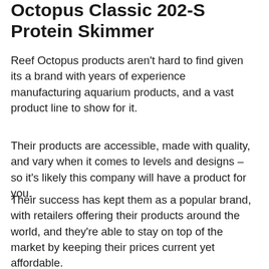Octopus Classic 202-S Protein Skimmer
Reef Octopus products aren't hard to find given its a brand with years of experience manufacturing aquarium products, and a vast product line to show for it.
Their products are accessible, made with quality, and vary when it comes to levels and designs – so it's likely this company will have a product for you.
Their success has kept them as a popular brand, with retailers offering their products around the world, and they're able to stay on top of the market by keeping their prices current yet affordable.